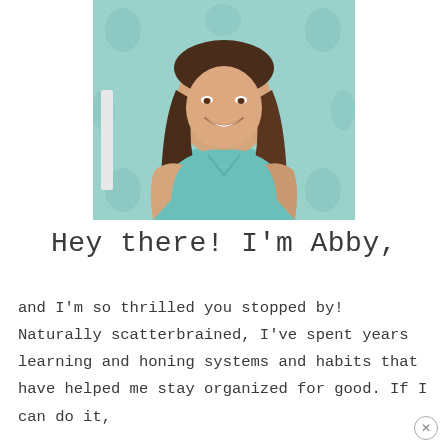[Figure (photo): A smiling young woman with long dark brown hair, wearing a teal/mint v-neck short-sleeve t-shirt. She is posed against a light teal patterned background.]
Hey there! I'm Abby,
and I'm so thrilled you stopped by! Naturally scatterbrained, I've spent years learning and honing systems and habits that have helped me stay organized for good. If I can do it,